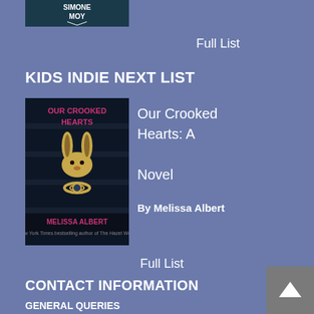[Figure (photo): Top portion of a book cover with author name MOY visible on dark teal background]
Full List
KIDS INDIE NEXT LIST
[Figure (photo): Book cover for 'Our Crooked Hearts: A Novel' by Melissa Albert. Dark background with golden rabbit head and ring icon. Title in pink/magenta text.]
Our Crooked Hearts: A Novel
By Melissa Albert
Full List
CONTACT INFORMATION
GENERAL QUERIES
info@printbookstore.com
EVENTS
events@printbookstore.com
KID'S INQUIRIES